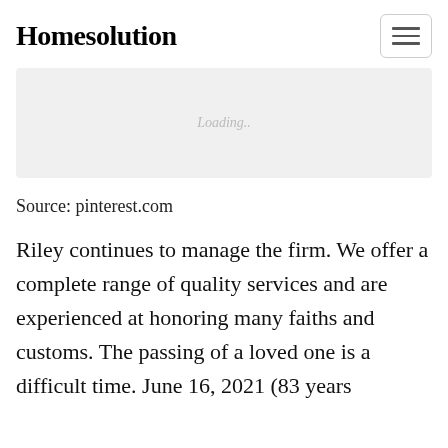Homesolution
[Figure (screenshot): Loading placeholder box with 'Loading..' text in light gray on a light gray background]
Source: pinterest.com
Riley continues to manage the firm. We offer a complete range of quality services and are experienced at honoring many faiths and customs. The passing of a loved one is a difficult time. June 16, 2021 (83 years